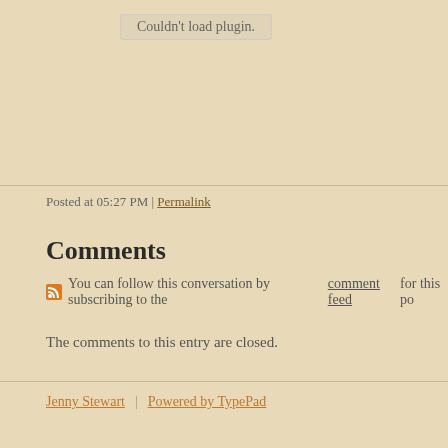Couldn't load plugin.
Posted at 05:27 PM | Permalink
Comments
You can follow this conversation by subscribing to the comment feed for this po
The comments to this entry are closed.
Jenny Stewart | Powered by TypePad